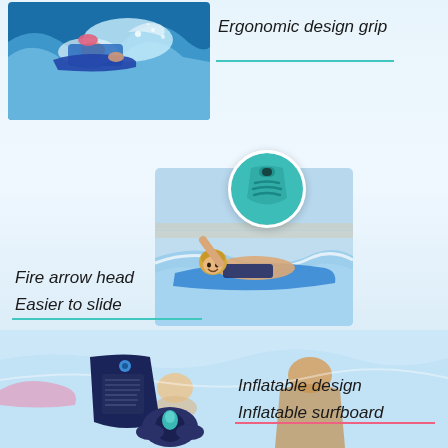[Figure (photo): Child riding a boogie board through ocean waves, action shot with water spray]
Ergonomic design grip
[Figure (photo): Teal inflatable bodyboard with ergonomic grip handles shown in circular inset]
[Figure (photo): Smiling child lying on a blue inflatable bodyboard at the beach with waves]
Fire arrow head
Easier to slide
[Figure (photo): Adult and baby in a pool with an inflatable pink surfboard in background]
[Figure (photo): Navy blue inflatable bodyboard (deflated/folded) with valve/pump cap shown separately]
Inflatable design
Inflatable surfboard